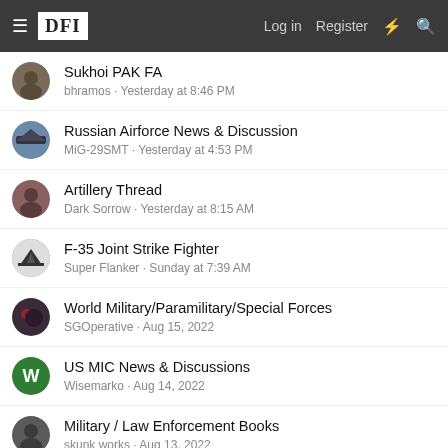DFI | Log in | Register
Sukhoi PAK FA
bhramos · Yesterday at 8:46 PM
Russian Airforce News & Discussion
MiG-29SMT · Yesterday at 4:53 PM
Artillery Thread
Dark Sorrow · Yesterday at 8:15 AM
F-35 Joint Strike Fighter
Super Flanker · Sunday at 7:39 AM
World Military/Paramilitary/Special Forces
SGOperative · Aug 15, 2022
US MIC News & Discussions
Wisemarko · Aug 14, 2022
Military / Law Enforcement Books
skunk works · Aug 13, 2022
Main Battle Tanks and Armour Technology
Clairvoyance · Aug 11, 2022